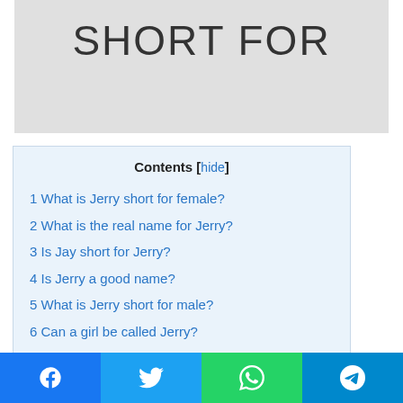[Figure (other): Gray hero banner with large text 'SHORT FOR']
SHORT FOR
Contents [hide]
1 What is Jerry short for female?
2 What is the real name for Jerry?
3 Is Jay short for Jerry?
4 Is Jerry a good name?
5 What is Jerry short for male?
6 Can a girl be called Jerry?
7 When was the name Jerry most popular?
[Figure (other): Social share bar with Facebook, Twitter, WhatsApp, and Telegram buttons]